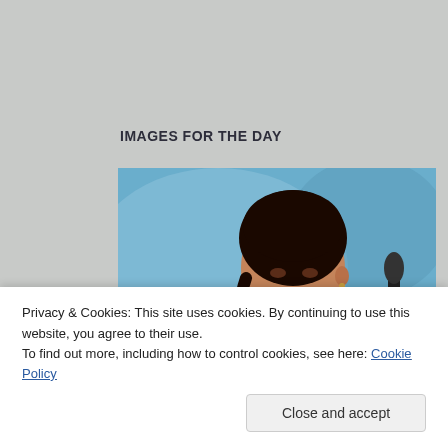IMAGES FOR THE DAY
[Figure (photo): A young woman with dark hair in a braid, wearing a pink/magenta top, speaking at a podium with a microphone. Blue background. Appears to be at a formal event or press conference.]
Privacy & Cookies: This site uses cookies. By continuing to use this website, you agree to their use.
To find out more, including how to control cookies, see here: Cookie Policy
Close and accept